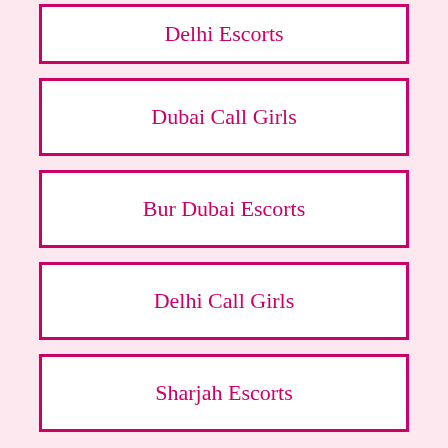Delhi Escorts
Dubai Call Girls
Bur Dubai Escorts
Delhi Call Girls
Sharjah Escorts